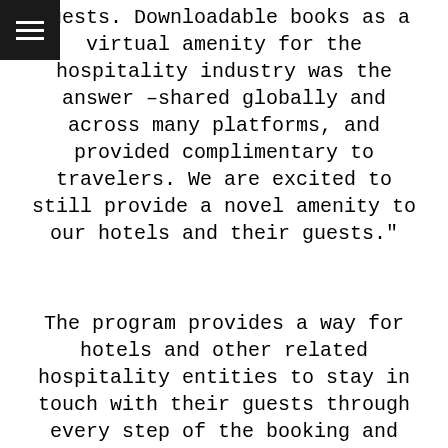[Figure (other): Hamburger menu icon — three white horizontal lines on a black square background in the top-left corner]
guests. Downloadable books as a virtual amenity for the hospitality industry was the answer –shared globally and across many platforms, and provided complimentary to travelers. We are excited to still provide a novel amenity to our hotels and their guests."
The program provides a way for hotels and other related hospitality entities to stay in touch with their guests through every step of the booking and visit process. The digital books can be sent as a gift before travelers arrive as well as